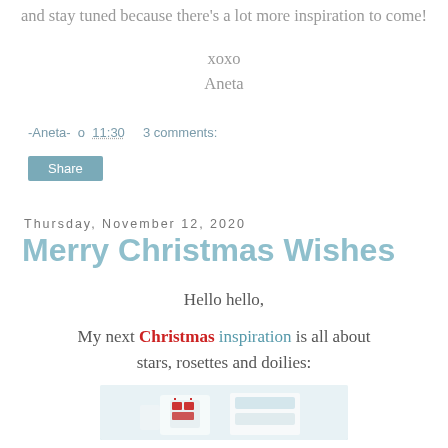Thank you for visiting me today and stay tuned because there's a lot more inspiration to come!
xoxo
Aneta
-Aneta- o 11:30   3 comments:
Share
Thursday, November 12, 2020
Merry Christmas Wishes
Hello hello,
My next Christmas inspiration is all about stars, rosettes and doilies:
[Figure (photo): Partial photo of Christmas-themed card or decoration with red and white elements, partially visible at bottom of page]